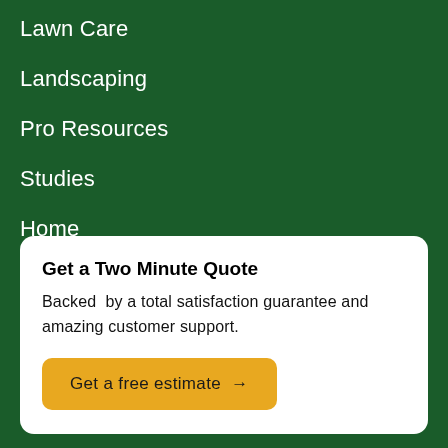Lawn Care
Landscaping
Pro Resources
Studies
Home
Get a Two Minute Quote
Backed by a total satisfaction guarantee and amazing customer support.
Get a free estimate →